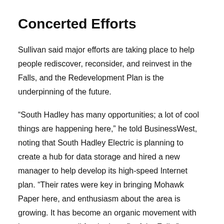Concerted Efforts
Sullivan said major efforts are taking place to help people rediscover, reconsider, and reinvest in the Falls, and the Redevelopment Plan is the underpinning of the future.
“South Hadley has many opportunities; a lot of cool things are happening here,” he told BusinessWest, noting that South Hadley Electric is planning to create a hub for data storage and hired a new manager to help develop its high-speed Internet plan. “Their rates were key in bringing Mohawk Paper here, and enthusiasm about the area is growing. It has become an organic movement with its own energy, all for the benefit of the Falls.”